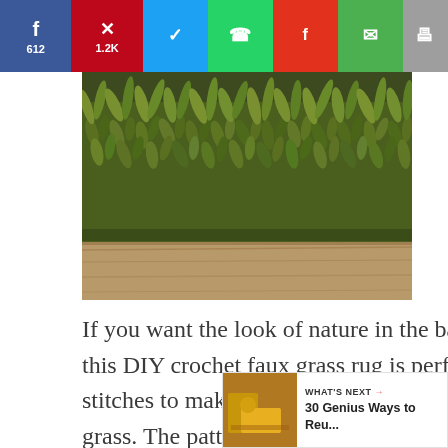[Figure (other): Social media share bar with Facebook (612), Pinterest (1.2K), Twitter, WhatsApp, Flipboard, Email, and Print buttons]
[Figure (photo): Close-up photo of a green fluffy crochet rug that resembles grass, sitting on a wooden floor surface]
If you want the look of nature in the bathroom but you don't actually want real grass, this DIY crochet faux grass rug is perfect. You don't need to know any fancy crochet stitches to make this one and if you use the right color of yarn, it will look just like real grass. The pattern is lis... an easy crochet pattern so even beginners can do this one. It's a great way to add
[Figure (other): Heart/like button with count 1.8K and share button on right side]
[Figure (other): What's Next promo box: 30 Genius Ways to Reu... with a thumbnail image]